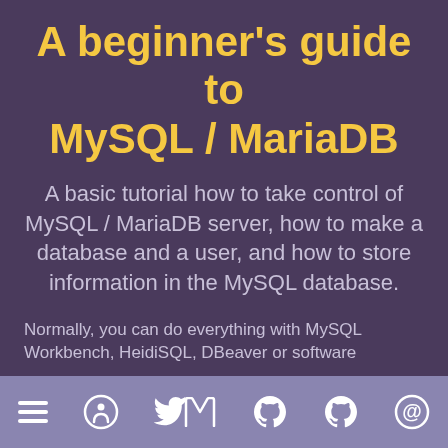A beginner's guide to MySQL / MariaDB
A basic tutorial how to take control of MySQL / MariaDB server, how to make a database and a user, and how to store information in the MySQL database.
Normally, you can do everything with MySQL Workbench, HeidiSQL, DBeaver or software
[Figure (infographic): Footer navigation bar with icons: hamburger menu, accessibility, Twitter, GitHub, GitHub, at-sign]